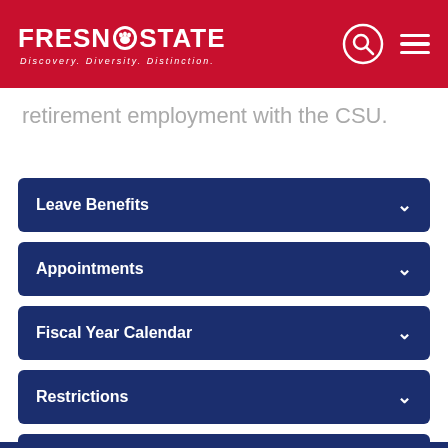FRESNO STATE – Discovery. Diversity. Distinction.
retirement employment with the CSU.
Leave Benefits
Appointments
Fiscal Year Calendar
Restrictions
Penalties